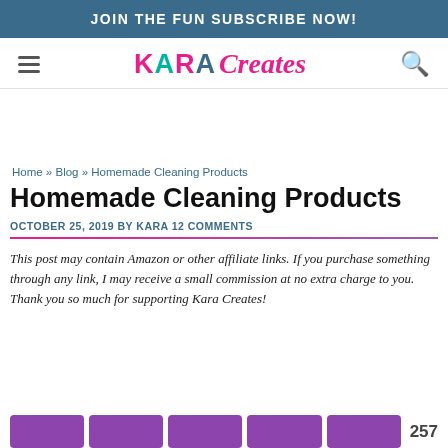JOIN THE FUN SUBSCRIBE NOW!
[Figure (logo): Kara Creates logo with hamburger menu and search icon]
Home » Blog » Homemade Cleaning Products
Homemade Cleaning Products
OCTOBER 25, 2019 BY KARA 12 COMMENTS
This post may contain Amazon or other affiliate links. If you purchase something through any link, I may receive a small commission at no extra charge to you. Thank you so much for supporting Kara Creates!
[Figure (other): Row of purple social sharing buttons with count 257]